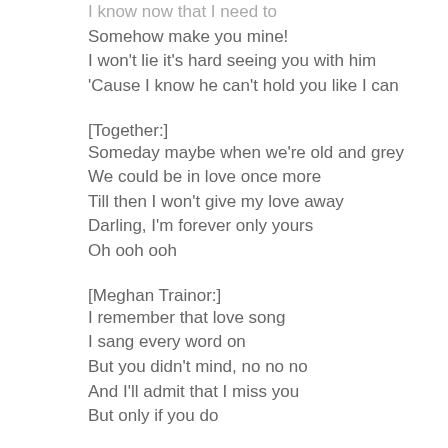I know now that I need to
Somehow make you mine!
I won't lie it's hard seeing you with him
'Cause I know he can't hold you like I can
[Together:]
Someday maybe when we're old and grey
We could be in love once more
Till then I won't give my love away
Darling, I'm forever only yours
Oh ooh ooh
[Meghan Trainor:]
I remember that love song
I sang every word on
But you didn't mind, no no no
And I'll admit that I miss you
But only if you do